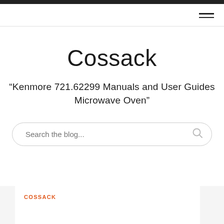Cossack
“Kenmore 721.62299 Manuals and User Guides Microwave Oven”
Search the blog...
COSSACK